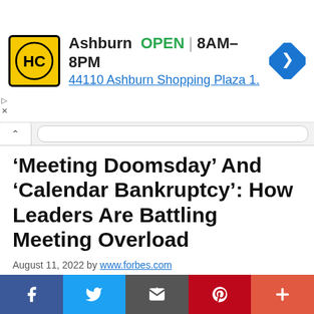[Figure (infographic): Advertisement banner for Haircut place (HC logo) in Ashburn, showing OPEN 8AM-8PM and address 44110 Ashburn Shopping Plaza 1., with a blue navigation arrow diamond icon]
‘Meeting Doomsday’ And ‘Calendar Bankruptcy’: How Leaders Are Battling Meeting Overload
August 11, 2022 by www.forbes.com
Share to Twitter Share to Linkedin I t was the return of business travel that tipped Stephanie Dismore’s calendar over the edge. Earlier this year,
[Figure (infographic): Social sharing bar at bottom with Facebook, Twitter, Email, Pinterest, and More buttons]